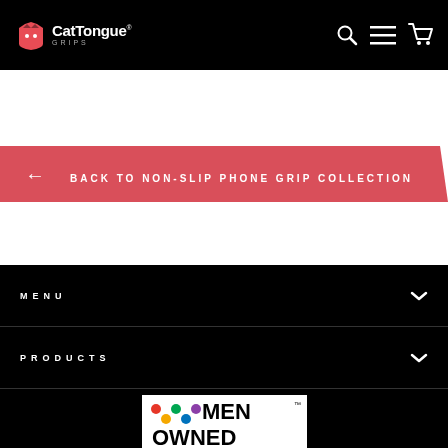CatTongue Grips — Navigation header with logo, search, menu, and cart icons
[Figure (screenshot): Red angled banner with arrow and text: BACK TO NON-SLIP PHONE GRIP COLLECTION]
MENU
PRODUCTS
[Figure (logo): Women Owned certification logo with colorful dots forming a W]